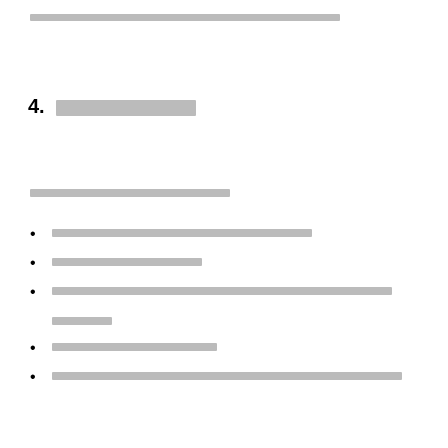[redacted header text]
4. [redacted section title]
[redacted paragraph text]
[redacted list item 1]
[redacted list item 2]
[redacted list item 3 with continuation]
[redacted list item 4]
[redacted list item 5]